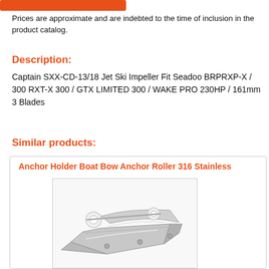Prices are approximate and are indebted to the time of inclusion in the product catalog.
Description:
Captain SXX-CD-13/18 Jet Ski Impeller Fit Seadoo BRPRXP-X / 300 RXT-X 300 / GTX LIMITED 300 / WAKE PRO 230HP / 161mm 3 Blades
Similar products:
Anchor Holder Boat Bow Anchor Roller 316 Stainless
[Figure (photo): Photo of a stainless steel boat bow anchor roller with white pulleys, silver metallic finish, angular bracket design]